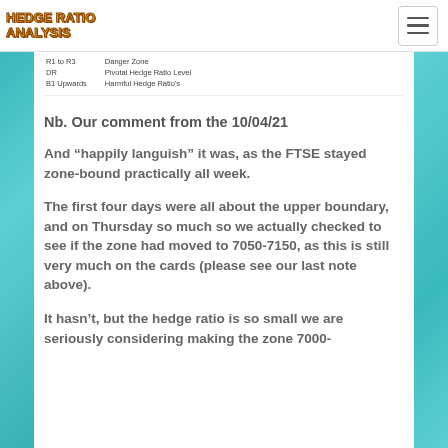HEDGE RATIO ANALYSIS
R1 to R3
DR
B1 Upwards
Danger Zone
Pivotal Hedge Ratio Level
Harmful Hedge Ratio's
Nb. Our comment from the 10/04/21
And “happily languish” it was, as the FTSE stayed zone-bound practically all week.
The first four days were all about the upper boundary, and on Thursday so much so we actually checked to see if the zone had moved to 7050-7150, as this is still very much on the cards (please see our last note above).
It hasn’t, but the hedge ratio is so small we are seriously considering making the zone 7000-